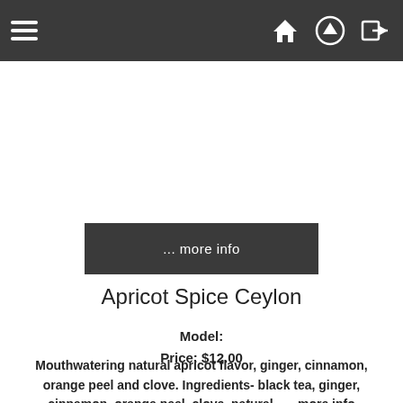Navigation bar with hamburger menu and icons
... more info
Apricot Spice Ceylon
Model:
Price: $12.00
Mouthwatering natural apricot flavor, ginger, cinnamon, orange peel and clove. Ingredients- black tea, ginger, cinnamon, orange peel, clove, natural ... more info